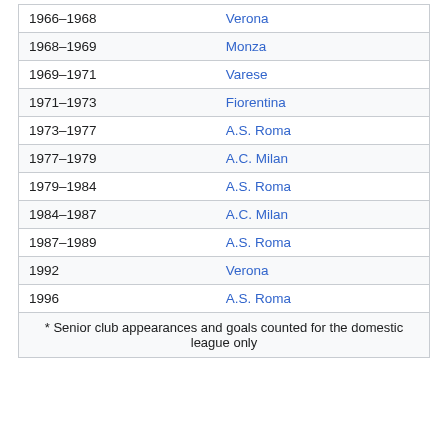| Year | Club |
| --- | --- |
| 1966–1968 | Verona |
| 1968–1969 | Monza |
| 1969–1971 | Varese |
| 1971–1973 | Fiorentina |
| 1973–1977 | A.S. Roma |
| 1977–1979 | A.C. Milan |
| 1979–1984 | A.S. Roma |
| 1984–1987 | A.C. Milan |
| 1987–1989 | A.S. Roma |
| 1992 | Verona |
| 1996 | A.S. Roma |